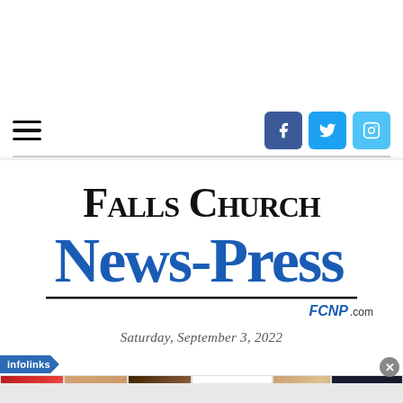Falls Church News-Press | FCNP.com
[Figure (logo): Falls Church News-Press logo — blackletter 'Falls Church' above blue blackletter 'News-Press', with 'FCNP.com' in blue below a horizontal rule]
Saturday, September 3, 2022
[Figure (infographic): Infolinks ad banner with cosmetics/beauty images (lipstick, makeup brush, eyeshadow), Ulta Beauty logo, more eye closeups, and a 'SHOP NOW' button]